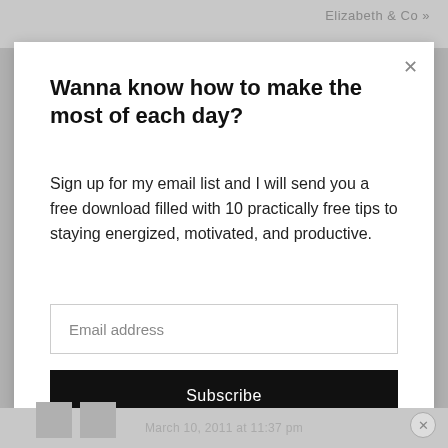Elizabeth & Co »
COMMENTS
Wanna know how to make the most of each day?
Sign up for my email list and I will send you a free download filled with 10 practically free tips to staying energized, motivated, and productive.
Email address
Subscribe
March 10, 2011 at 11:37 pm